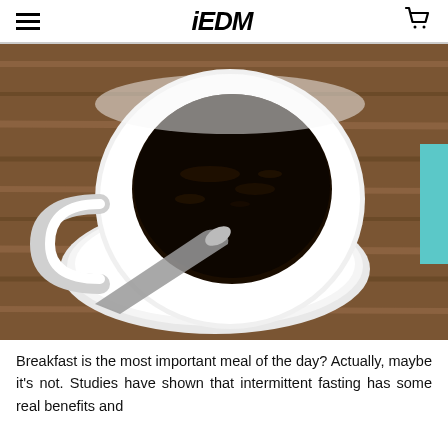iEDM
[Figure (photo): Overhead view of a white ceramic coffee cup filled with black coffee on a white saucer, with a spoon, placed on a wooden table. A teal HELP2SHOP tab is visible on the right edge.]
Breakfast is the most important meal of the day? Actually, maybe it's not. Studies have shown that intermittent fasting has some real benefits and